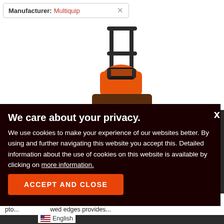Manufacturer: Multiquip ✕
[Figure (photo): Orange and black plate compactor / vibratory plate machine with handle, on white background]
✕
We care about your privacy.
We use cookies to make your experience of our websites better. By using and further navigating this website you accept this. Detailed information about the use of cookies on this website is available by clicking on more information.
Multiquip MVCo...
REQUEST A QUOTE
ACCEPT AND CLOSE
2,275 full load CVM... 13.8in. plate Solid, high-strength pto... ...wed edges provides...
🇺🇸 English